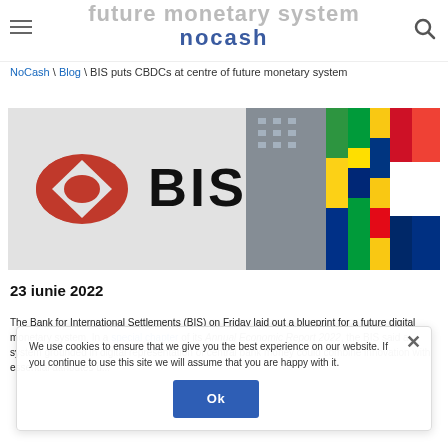future monetary system | nocash
NoCash \ Blog \ BIS puts CBDCs at centre of future monetary system
[Figure (photo): BIS logo on left half (red diamond oval icon and black BIS text) on grey background, right half showing building with colorful international flags draped vertically]
23 iunie 2022
The Bank for International Settlements (BIS) on Friday laid out a blueprint for a future digital monetary system. In a special chapter of its Annual Economic Report 2022, the BIS said a system grounded in digital representation of central bank money could combine innovation with essential attributes such as safety, stability, accountability
We use cookies to ensure that we give you the best experience on our website. If you continue to use this site we will assume that you are happy with it.